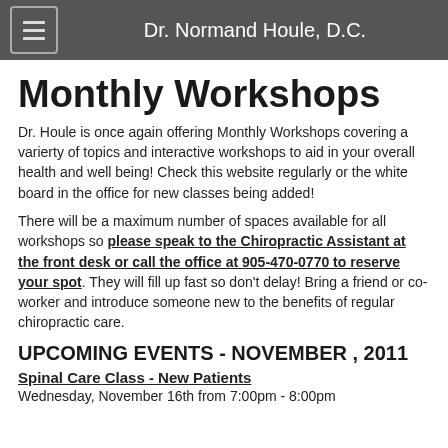Dr. Normand Houle, D.C.
Monthly Workshops
Dr. Houle is once again offering Monthly Workshops covering a varierty of topics and interactive workshops to aid in your overall health and well being!  Check this website regularly or the white board in the office for new classes being added!
There will be a maximum number of spaces available for all workshops so please speak to the Chiropractic Assistant at the front desk or call the office at 905-470-0770 to reserve your spot.  They will fill up fast so don't delay!  Bring a friend or co-worker and introduce someone new to the benefits of regular chiropractic care.
UPCOMING EVENTS - NOVEMBER , 2011
Spinal Care Class - New Patients
Wednesday, November 16th from 7:00pm - 8:00pm